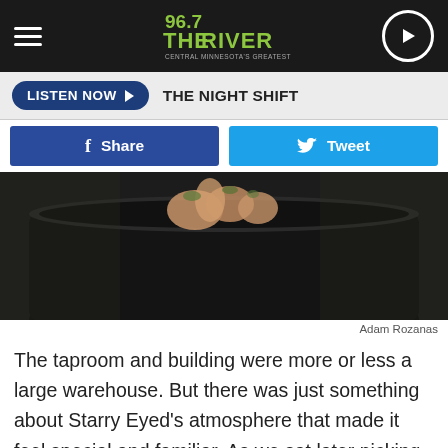[Figure (logo): 96.7 The River radio station logo - Central Minnesota's Greatest Hits]
LISTEN NOW ▶   THE NIGHT SHIFT
f Share   🐦 Tweet
[Figure (photo): Hands picking/squeezing hops over a large black pot or barrel]
Adam Rozanas
The taproom and building were more or less a large warehouse. But there was just something about Starry Eyed's atmosphere that made it feel special and familiar. As we sat later picking hops and drinking great craft beer out in quiet, rural Minnesota, I was reminded of summers as a kid when my family would go out to a friend's farm to pick, husk and